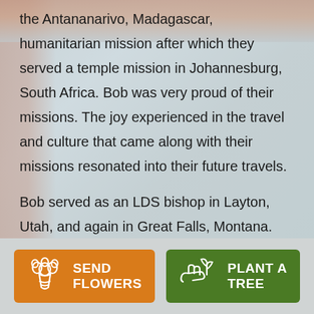the Antananarivo, Madagascar, humanitarian mission after which they served a temple mission in Johannesburg, South Africa. Bob was very proud of their missions. The joy experienced in the travel and culture that came along with their missions resonated into their future travels.

Bob served as an LDS bishop in Layton, Utah, and again in Great Falls, Montana. One of the greatest influencers in his life was Jesus Christ, and he lived his life dedicated to helping others as Jesus did. Bob
[Figure (illustration): Send Flowers button with flower bouquet icon, orange background]
[Figure (illustration): Plant a Tree button with seedling in hand icon, green background]